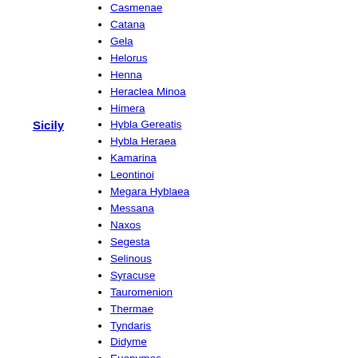Sicily
Casmenae
Catana
Gela
Helorus
Henna
Heraclea Minoa
Himera
Hybla Gereatis
Hybla Heraea
Kamarina
Leontinoi
Megara Hyblaea
Messana
Naxos
Segesta
Selinous
Syracuse
Tauromenion
Thermae
Tyndaris
Didyme
Euonymos
Ereikousa
Hycesia